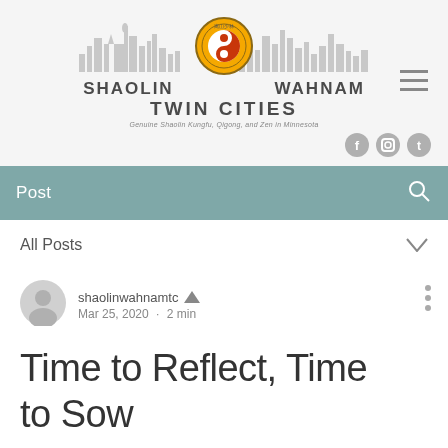[Figure (logo): Shaolin Wahnam Twin Cities logo with skyline silhouette and circular emblem. Text reads SHAOLIN WAHNAM TWIN CITIES. Tagline: Genuine Shaolin Kungfu, Qigong, and Zen in Minnesota]
Post
All Posts
shaolinwahnamtc  Mar 25, 2020 · 2 min
Time to Reflect, Time to Sow